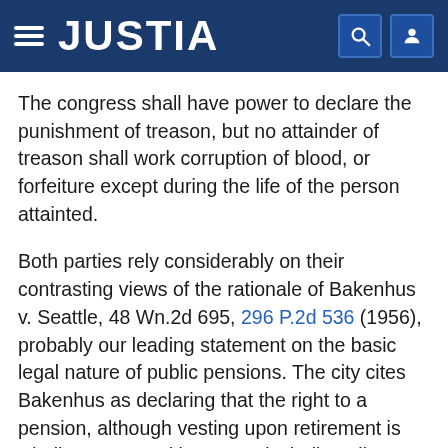JUSTIA
The congress shall have power to declare the punishment of treason, but no attainder of treason shall work corruption of blood, or forfeiture except during the life of the person attainted.
Both parties rely considerably on their contrasting views of the rationale of Bakenhus v. Seattle, 48 Wn.2d 695, 296 P.2d 536 (1956), probably our leading statement on the basic legal nature of public pensions. The city cites Bakenhus as declaring that the right to a pension, although vesting upon retirement is wholly contractual in nature, including all applicable statutes as component parts of the contract, and that plaintiff thus contracted that if convicted of a felony his pension should be discontinued. Accordingly, argues the city, the estate is no greater than the contractual rights which created it,